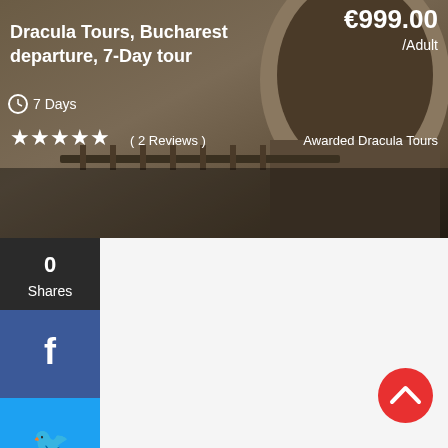[Figure (screenshot): Tour listing banner showing a stone archway/castle image with price €999.00 /Adult, title 'Dracula Tours, Bucharest departure, 7-Day tour', clock icon with '7 Days', 5 star rating with '( 2 Reviews )', and 'Awarded Dracula Tours' text.]
€999.00
/Adult
Dracula Tours, Bucharest departure, 7-Day tour
7 Days
( 2 Reviews )
Awarded Dracula Tours
0
Shares
[Figure (screenshot): Social share sidebar with Facebook (blue), Twitter (light blue), and Pinterest (red) share buttons stacked vertically, showing 0 Shares count at top.]
••WHAT OUR CUSTOMERS ARE SAYING ABOUT US?
[Figure (photo): Circular portrait of a young woman with long dark hair wearing a blue dress, standing outdoors.]
[Figure (other): Red circular scroll-to-top button with upward chevron arrow icon in bottom right corner.]